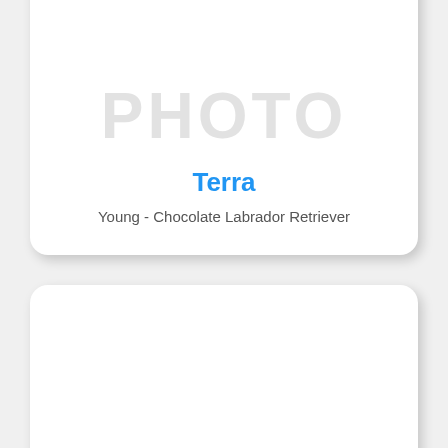[Figure (photo): Pet listing card showing placeholder photo area for Terra, a Young Chocolate Labrador Retriever]
Terra
Young - Chocolate Labrador Retriever
[Figure (photo): Pet listing card showing placeholder photo area for Willy]
WILLY